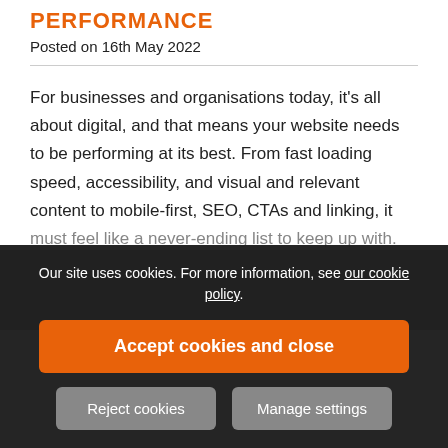PERFORMANCE
Posted on 16th May 2022
For businesses and organisations today, it's all about digital, and that means your website needs to be performing at its best. From fast loading speed, accessibility, and visual and relevant content to mobile-first, SEO, CTAs and linking, it must feel like a never-ending list to keep up with.
Our site uses cookies. For more information, see our cookie policy.
Accept cookies and close
Reject cookies
Manage settings